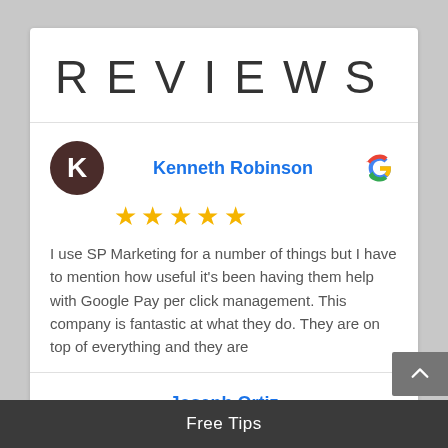REVIEWS
Kenneth Robinson
[Figure (other): Five yellow star rating]
I use SP Marketing for a number of things but I have to mention how useful it's been having them help with Google Pay per click management. This company is fantastic at what they do. They are on top of everything and they are
Joseph Ortiz
Free Tips